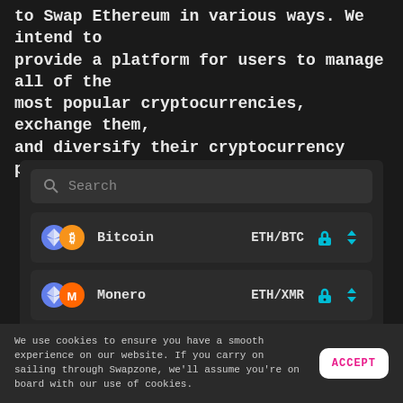to Swap Ethereum in various ways. We intend to provide a platform for users to manage all of the most popular cryptocurrencies, exchange them, and diversify their cryptocurrency portfolios.
[Figure (screenshot): Cryptocurrency exchange UI showing a search bar and two crypto swap rows: Bitcoin (ETH/BTC) and Monero (ETH/XMR), each with lock and sort icons]
We use cookies to ensure you have a smooth experience on our website. If you carry on sailing through Swapzone, we'll assume you're on board with our use of cookies.